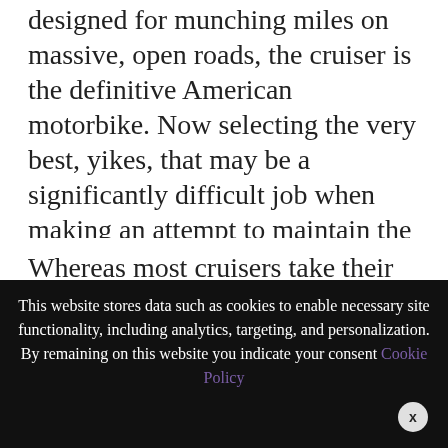designed for munching miles on massive, open roads, the cruiser is the definitive American motorbike. Now selecting the very best, yikes, that may be a significantly difficult job when making an attempt to maintain the record to only 10.
Whereas most cruisers take their inspiration straight from the massive American-made cruisers from the early to mid-Twentieth
We use cookies on our website to give you the most relevant experience by remembering your preferences and repeat visits. By clicking “Accept All”, you consent to the use of ALL the controlled consent.
This website stores data such as cookies to enable necessary site functionality, including analytics, targeting, and personalization. By remaining on this website you indicate your consent Cookie Policy